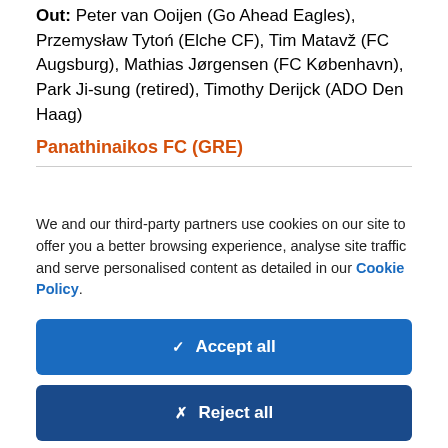Isimdt-Minn (AS Mondeu FC, loan)
Out: Peter van Ooijen (Go Ahead Eagles), Przemysław Tytoń (Elche CF), Tim Matavž (FC Augsburg), Mathias Jørgensen (FC København), Park Ji-sung (retired), Timothy Derijck (ADO Den Haag)
Panathinaikos FC (GRE)
We and our third-party partners use cookies on our site to offer you a better browsing experience, analyse site traffic and serve personalised content as detailed in our Cookie Policy.
✓ Accept all
✗ Reject all
Cookie settings >